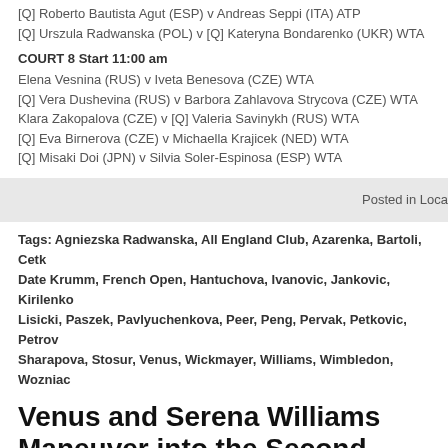[Q] Roberto Bautista Agut (ESP) v Andreas Seppi (ITA) ATP
[Q] Urszula Radwanska (POL) v [Q] Kateryna Bondarenko (UKR) WTA
COURT 8 Start 11:00 am
Elena Vesnina (RUS) v Iveta Benesova (CZE) WTA
[Q] Vera Dushevina (RUS) v Barbora Zahlavova Strycova (CZE) WTA
Klara Zakopalova (CZE) v [Q] Valeria Savinykh (RUS) WTA
[Q] Eva Birnerova (CZE) v Michaella Krajicek (NED) WTA
[Q] Misaki Doi (JPN) v Silvia Soler-Espinosa (ESP) WTA
Posted in Local
Tags: Agniezska Radwanska, All England Club, Azarenka, Bartoli, Cetk Date Krumm, French Open, Hantuchova, Ivanovic, Jankovic, Kirilenko Lisicki, Paszek, Pavlyuchenkova, Peer, Peng, Pervak, Petkovic, Petrov Sharapova, Stosur, Venus, Wickmayer, Williams, Wimbledon, Wozniac
Venus and Serena Williams Maneuver into the Second Week at Wimbledon
Posted on 25 June 2011